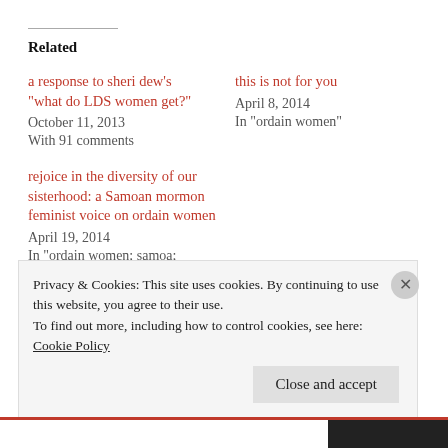Related
a response to sheri dew's “what do LDS women get?”
October 11, 2013
With 91 comments
this is not for you
April 8, 2014
In “ordain women”
rejoice in the diversity of our sisterhood: a Samoan mormon feminist voice on ordain women
April 19, 2014
In “ordain women; samoa;
Privacy & Cookies: This site uses cookies. By continuing to use this website, you agree to their use.
To find out more, including how to control cookies, see here: Cookie Policy